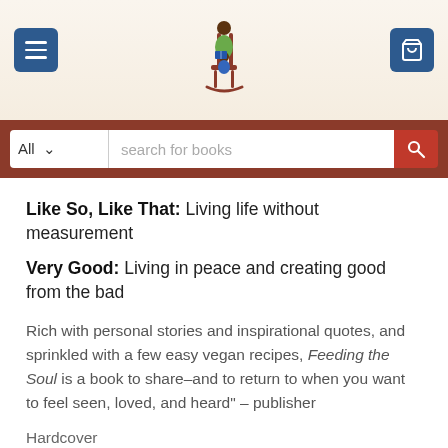[Figure (screenshot): Bookstore website header with menu button on left, rocking chair illustration with adult reading to child in center, cart button on right, on a warm cream/tan background]
[Figure (screenshot): Search bar with 'All' dropdown, 'search for books' placeholder text, and red search button]
Like So, Like That: Living life without measurement
Very Good: Living in peace and creating good from the bad
Rich with personal stories and inspirational quotes, and sprinkled with a few easy vegan recipes, Feeding the Soul is a book to share–and to return to when you want to feel seen, loved, and heard" – publisher
Hardcover
288 pages